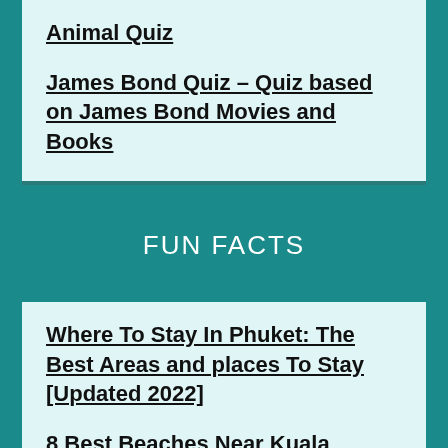Animal Quiz
James Bond Quiz – Quiz based on James Bond Movies and Books
FUN FACTS
Where To Stay In Phuket: The Best Areas and places To Stay [Updated 2022]
8 Best Beaches Near Kuala Lumpur That Are Worth A Visit [Updated 2022]